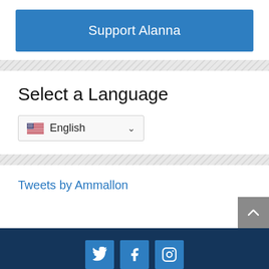Support Alanna
Select a Language
English
Tweets by Ammallon